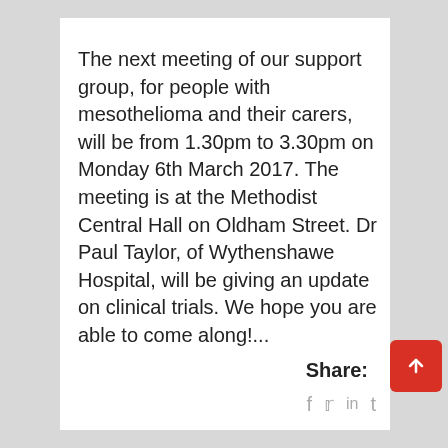The next meeting of our support group, for people with mesothelioma and their carers, will be from 1.30pm to 3.30pm on Monday 6th March 2017. The meeting is at the Methodist Central Hall on Oldham Street. Dr Paul Taylor, of Wythenshawe Hospital, will be giving an update on clinical trials. We hope you are able to come along!...
Share: